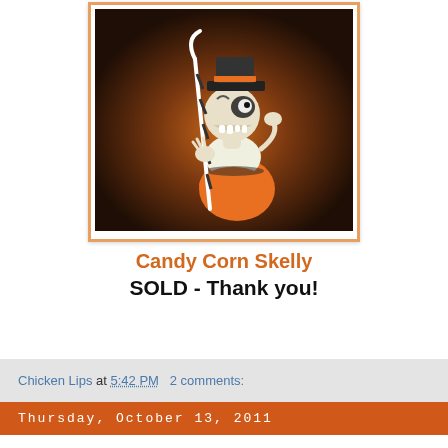[Figure (photo): A sculpted candy corn skeleton character holding a striped cane, wearing a small black hat, with orange and cream colored body, skeletal skull face, on a dark orange/brown background.]
Candy Corn Skelly
SOLD - Thank you!
Chicken Lips at 5:42 PM   2 comments:
Thursday, October 13, 2011